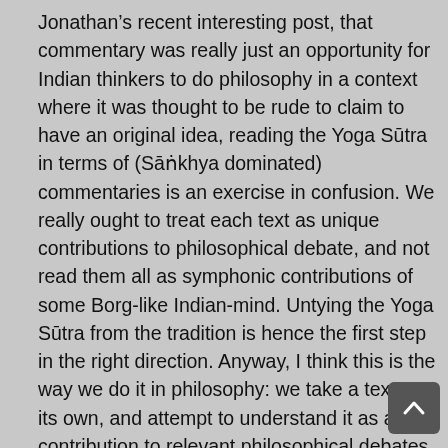Jonathan's recent interesting post, that commentary was really just an opportunity for Indian thinkers to do philosophy in a context where it was thought to be rude to claim to have an original idea, reading the Yoga Sūtra in terms of (Sāṅkhya dominated) commentaries is an exercise in confusion. We really ought to treat each text as unique contributions to philosophical debate, and not read them all as symphonic contributions of some Borg-like Indian-mind. Untying the Yoga Sūtra from the tradition is hence the first step in the right direction. Anyway, I think this is the way we do it in philosophy: we take a text on its own, and attempt to understand it as a contribution to relevant philosophical debates. If one takes this approach to the YS, it...